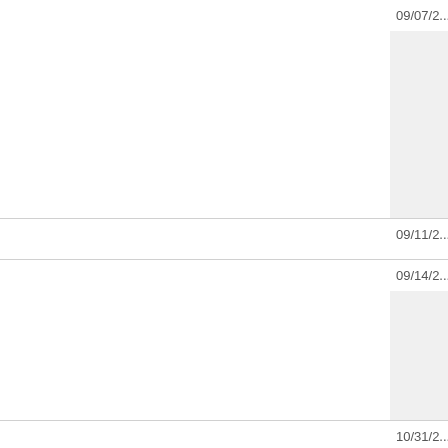|  | Date |
| --- | --- |
|  | 09/07/2... |
|  | 09/11/2... |
|  | 09/14/2... |
|  | 10/31/2... |
|  | 10/31/2... |
|  |  |